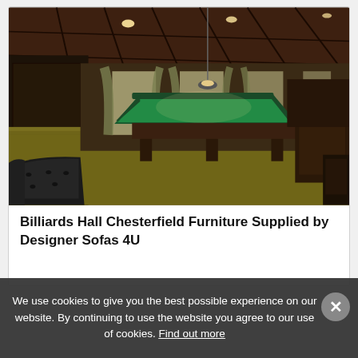[Figure (photo): Interior of a billiards hall showing a green-felt pool table in the center, dark wood paneling on walls and ceiling with recessed lighting, gold/olive carpet flooring, black tufted Chesterfield sofa in the foreground left, elegant curtains on windows, and additional furniture in the background.]
Billiards Hall Chesterfield Furniture Supplied by Designer Sofas 4U
We use cookies to give you the best possible experience on our website. By continuing to use the website you agree to our use of cookies. Find out more